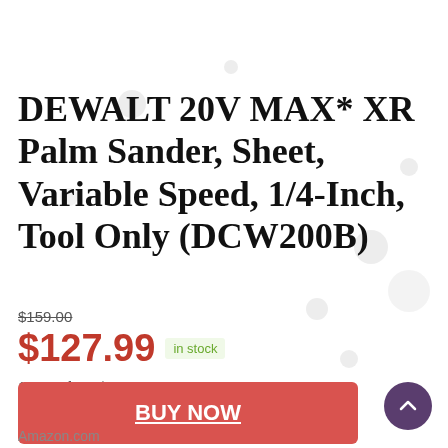DEWALT 20V MAX* XR Palm Sander, Sheet, Variable Speed, 1/4-Inch, Tool Only (DCW200B)
$159.00
$127.99 in stock
10 new from $127.99
1 used from $104.49
BUY NOW
Amazon.com